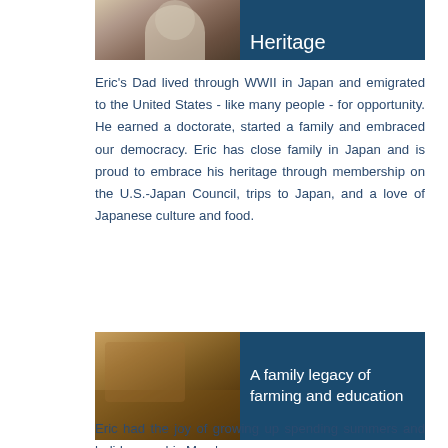[Figure (photo): Partial top-right banner showing 'Heritage' text on dark blue background with photo of a man in suit on the left]
Eric's Dad lived through WWII in Japan and emigrated to the United States - like many people - for opportunity. He earned a doctorate, started a family and embraced our democracy. Eric has close family in Japan and is proud to embrace his heritage through membership on the U.S.-Japan Council, trips to Japan, and a love of Japanese culture and food.
[Figure (photo): Banner with dark blue background showing 'A family legacy of farming and education' with a blurred farm/outdoor photo on the left side]
Eric had the joy of growing up spending summers and holidays on his Mom's